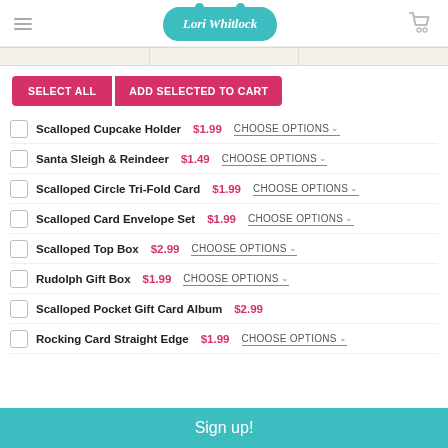Lori Whitlock
SELECT ALL | ADD SELECTED TO CART
Scalloped Cupcake Holder $1.99 CHOOSE OPTIONS
Santa Sleigh & Reindeer $1.49 CHOOSE OPTIONS
Scalloped Circle Tri-Fold Card $1.99 CHOOSE OPTIONS
Scalloped Card Envelope Set $1.99 CHOOSE OPTIONS
Scalloped Top Box $2.99 CHOOSE OPTIONS
Rudolph Gift Box $1.99 CHOOSE OPTIONS
Scalloped Pocket Gift Card Album $2.99
Rocking Card Straight Edge $1.99 CHOOSE OPTIONS
Sign up!